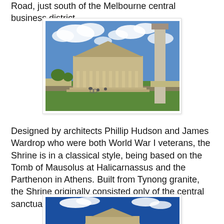Road, just south of the Melbourne central business district.
[Figure (photo): Photograph of the Shrine of Remembrance in Melbourne showing the classical stone building with columns, a pyramid roof, a tall stone pillar on the right, green lawns, blue sky with clouds, and people in the foreground.]
Designed by architects Phillip Hudson and James Wardrop who were both World War I veterans, the Shrine is in a classical style, being based on the Tomb of Mausolus at Halicarnassus and the Parthenon in Athens. Built from Tynong granite, the Shrine originally consisted only of the central sanctuary surrounded by the ambulatory.
[Figure (photo): Photograph showing the top portion of the Shrine of Remembrance against a deep blue sky with white clouds.]